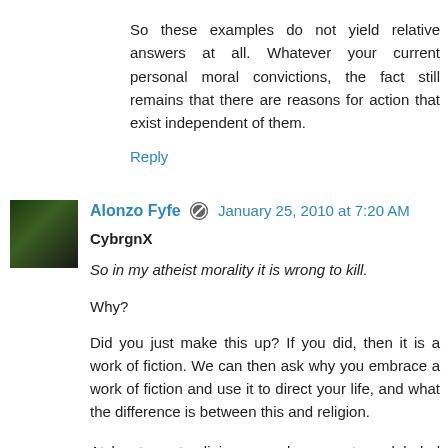So these examples do not yield relative answers at all. Whatever your current personal moral convictions, the fact still remains that there are reasons for action that exist independent of them.
Reply
Alonzo Fyfe  January 25, 2010 at 7:20 AM
CybrgnX
So in my atheist morality it is wrong to kill.
Why?
Did you just make this up? If you did, then it is a work of fiction. We can then ask why you embrace a work of fiction and use it to direct your life, and what the difference is between this and religion.
At least most religious people are not so deluded that they